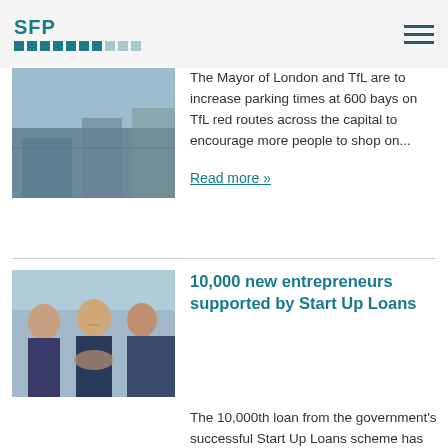SFP
[Figure (photo): Partial photo of a street or urban scene, cropped at top]
The Mayor of London and TfL are to increase parking times at 600 bays on TfL red routes across the capital to encourage more people to shop on...
Read more »
[Figure (photo): Business people shaking hands and smiling]
10,000 new entrepreneurs supported by Start Up Loans
The 10,000th loan from the government's successful Start Up Loans scheme has been awarded to a budding entrepreneur from Cornwall, the Prime...